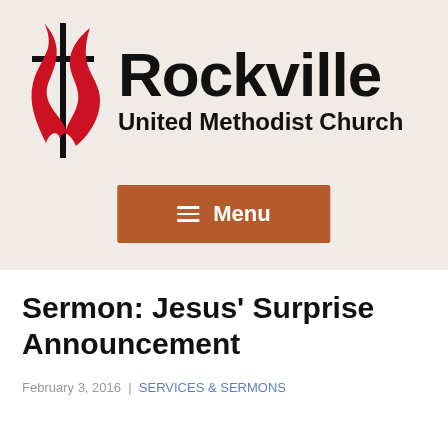[Figure (logo): Rockville United Methodist Church logo with UMC cross and flame symbol in red, and church name in bold black text]
[Figure (screenshot): Brown/terracotta colored Menu button with hamburger icon and 'Menu' text in white]
Sermon: Jesus' Surprise Announcement
February 3, 2016 | SERVICES & SERMONS